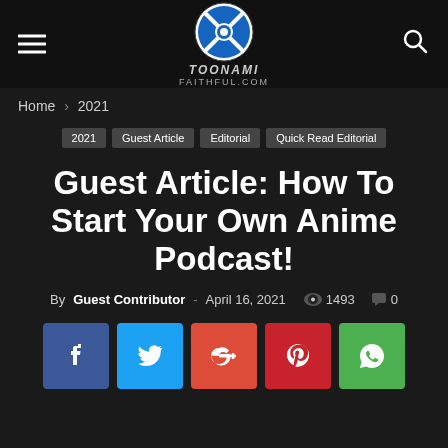Toonami Faithful — navigation header with hamburger menu, logo, and search icon
Home › 2021
2021  Guest Article  Editorial  Quick Read Editorial
Guest Article: How To Start Your Own Anime Podcast!
By Guest Contributor - April 16, 2021  1493  0
[Figure (other): Social sharing buttons: Facebook (blue), Twitter (cyan), Google+ (orange-red), Pinterest (red), WhatsApp (green)]